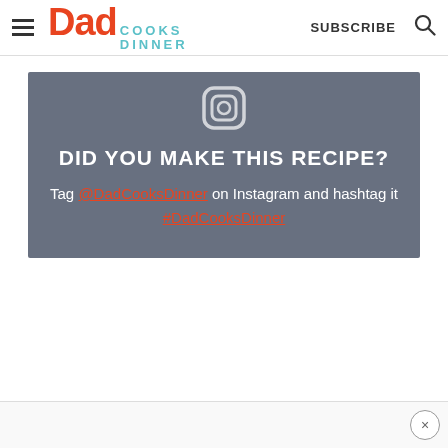Dad Cooks Dinner — SUBSCRIBE
[Figure (screenshot): Gray banner with Instagram icon and text: DID YOU MAKE THIS RECIPE? Tag @DadCooksDinner on Instagram and hashtag it #DadCooksDinner]
Ad bar with close button